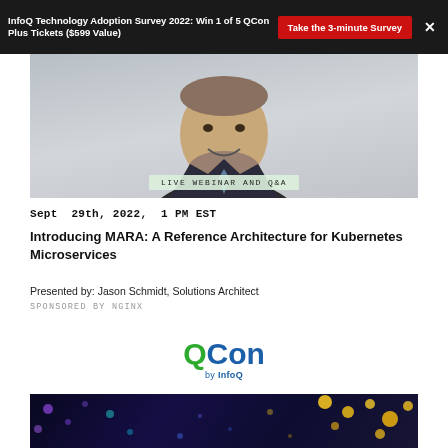InfoQ Technology Adoption Survey 2022: Win 1 of 5 QCon Plus Tickets ($599 Value)
[Figure (photo): Professional headshot of a smiling man in a suit with a beard, with 'LIVE WEBINAR AND Q&A' label overlay]
Sept  29th, 2022,  1 PM EST
Introducing MARA: A Reference Architecture for Kubernetes Microservices
Presented by: Jason Schmidt, Solutions Architect
SPONSORED BY NGINX
[Figure (logo): QCon by InfoQ logo — Q in green, Con in blue, 'by InfoQ' beneath in blue]
[Figure (photo): Dark blue abstract background with colorful dots, bottom strip image]